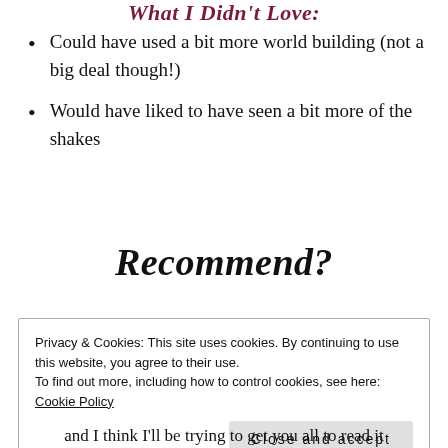What I Didn't Love:
Could have used a bit more world building (not a big deal though!)
Would have liked to have seen a bit more of the shakes
Recommend?
Privacy & Cookies: This site uses cookies. By continuing to use this website, you agree to their use.
To find out more, including how to control cookies, see here:
Cookie Policy
Close and accept
and I think I'll be trying to get you all to read it